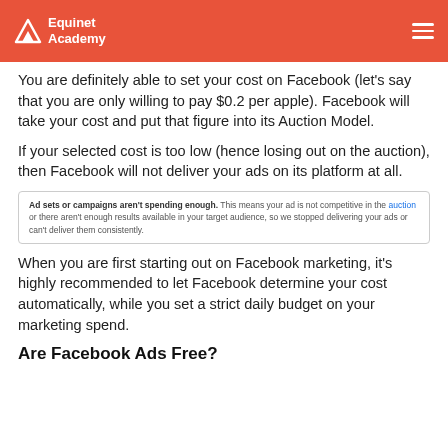Equinet Academy
You are definitely able to set your cost on Facebook (let's say that you are only willing to pay $0.2 per apple). Facebook will take your cost and put that figure into its Auction Model.
If your selected cost is too low (hence losing out on the auction), then Facebook will not deliver your ads on its platform at all.
[Figure (screenshot): Facebook warning notice: 'Ad sets or campaigns aren't spending enough. This means your ad is not competitive in the auction or there aren't enough results available in your target audience, so we stopped delivering your ads or can't deliver them consistently.']
When you are first starting out on Facebook marketing, it's highly recommended to let Facebook determine your cost automatically, while you set a strict daily budget on your marketing spend.
Are Facebook Ads Free?